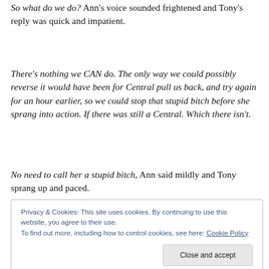So what do we do? Ann's voice sounded frightened and Tony's reply was quick and impatient.
There's nothing we CAN do. The only way we could possibly reverse it would have been for Central pull us back, and try again for an hour earlier, so we could stop that stupid bitch before she sprang into action. If there was still a Central. Which there isn't.
No need to call her a stupid bitch, Ann said mildly and Tony sprang up and paced.
Privacy & Cookies: This site uses cookies. By continuing to use this website, you agree to their use.
To find out more, including how to control cookies, see here: Cookie Policy
Close and accept